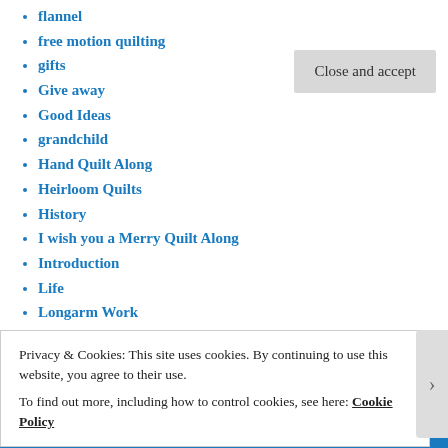flannel
free motion quilting
gifts
Give away
Good Ideas
grandchild
Hand Quilt Along
Heirloom Quilts
History
I wish you a Merry Quilt Along
Introduction
Life
Longarm Work
Miranda's Journey
needlework
One Monthly Goal
Paper Piecing
Privacy & Cookies: This site uses cookies. By continuing to use this website, you agree to their use.
To find out more, including how to control cookies, see here: Cookie Policy